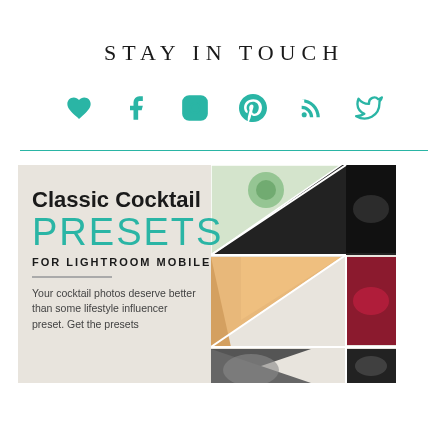STAY IN TOUCH
[Figure (infographic): Row of six social media icons in teal: heart, Facebook, Instagram, Pinterest, RSS, Twitter]
[Figure (illustration): Classic Cocktail Presets for Lightroom Mobile advertisement image with cocktail photos in triangular collage on the right side]